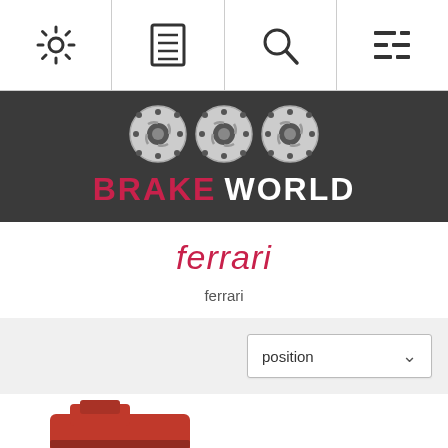Navigation bar with settings, menu, search, and list icons
[Figure (logo): Brake World logo with brake disc icons and stylized text BRAKE WORLD on dark background]
ferrari
ferrari
[Figure (screenshot): Position dropdown filter selector]
[Figure (photo): Red Ferrari brake caliper product image at bottom]